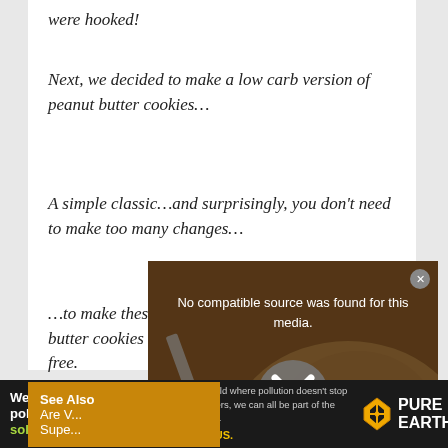were hooked!
Next, we decided to make a low carb version of peanut butter cookies…
A simple classic…and surprisingly, you don't need to make too many changes…
…to make these peanut butter cookies are sugar-free.
[Figure (screenshot): Video player overlay showing a photo of bread/toast with message 'No compatible source was found for this media.' and an X dismiss button. A close X circle is shown in the center. A nutrition label reading 'Total Fat: 16g' appears at the bottom of the overlay.]
[Figure (screenshot): Yellow/brown sidebar box with text: 'See Also', 'Are Vegetables...', 'Super... Healthy...']
[Figure (screenshot): Ad banner: 'We believe the global pollution crisis can be solved.' with Pure Earth logo and text 'In a world where pollution doesn't stop at borders, we can all be part of the solution. JOIN US.']